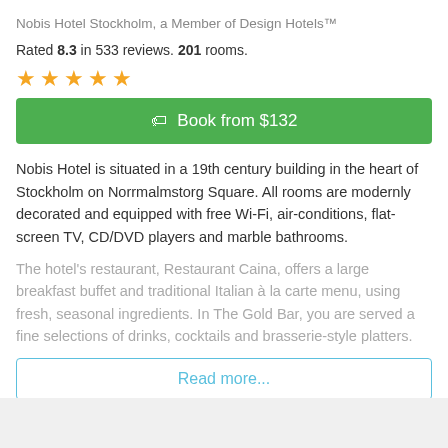Nobis Hotel Stockholm, a Member of Design Hotels™
Rated 8.3 in 533 reviews. 201 rooms.
[Figure (other): Five gold star rating icons]
Book from $132
Nobis Hotel is situated in a 19th century building in the heart of Stockholm on Norrmalmstorg Square. All rooms are modernly decorated and equipped with free Wi-Fi, air-conditions, flat-screen TV, CD/DVD players and marble bathrooms.
The hotel's restaurant, Restaurant Caina, offers a large breakfast buffet and traditional Italian à la carte menu, using fresh, seasonal ingredients. In The Gold Bar, you are served a fine selections of drinks, cocktails and brasserie-style platters.
Read more...